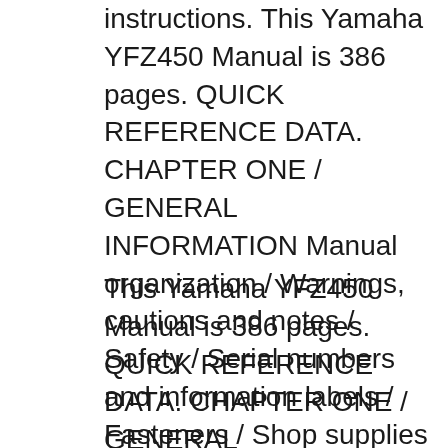instructions. This Yamaha YFZ450 Manual is 386 pages. QUICK REFERENCE DATA. CHAPTER ONE / GENERAL INFORMATION Manual organization / Warnings, cautions and notes / Safety / Serial numbers and information labels / Fasteners / Shop supplies / Tools / Measuring tools / Electrical system fundamentals / Service methods / Storage / Specifications
This Yamaha YFZ450 Manual is 386 pages. QUICK REFERENCE DATA. CHAPTER ONE / GENERAL INFORMATION Manual organization / Warnings, cautions and notes / Safety / Serial numbers and information labels /